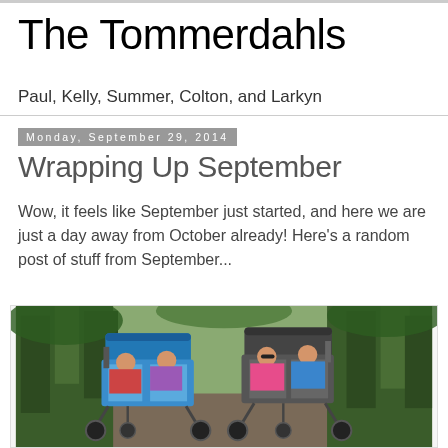The Tommerdahls
Paul, Kelly, Summer, Colton, and Larkyn
Monday, September 29, 2014
Wrapping Up September
Wow, it feels like September just started, and here we are just a day away from October already!  Here's a random post of stuff from September...
[Figure (photo): Children riding in two large strollers/prams on a tree-lined path outdoors. Left stroller (blue) has two children, right stroller has two children including one in a pink jacket and sunglasses.]